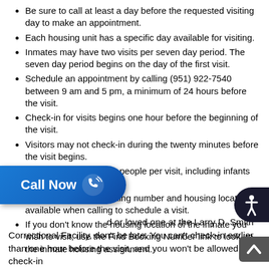Be sure to call at least a day before the requested visiting day to make an appointment.
Each housing unit has a specific day available for visiting.
Inmates may have two visits per seven day period. The seven day period begins on the day of the first visit.
Schedule an appointment by calling (951) 922-7540 between 9 am and 5 pm, a minimum of 24 hours before the visit.
Check-in for visits begins one hour before the beginning of the visit.
Visitors may not check-in during the twenty minutes before the visit begins.
Visits are limited to two people per visit, including infants and children.
Have the inmate's booking number and housing location available when calling to schedule a visit.
If you don't know the housing location of the inmate you wish to visit, use the Find Booking Number link to look up the inmate housing assignment.
...or loved one at the Larry D. Smith Correctional Facility, don't be late. You can't check-in earlier than one hour before the visit, and you won't be allowed to check-in...
[Figure (other): Blue 'Call Now' button with phone icon with signal waves, positioned at bottom left]
[Figure (other): Dark circular accessibility icon at bottom right]
[Figure (other): Grey scroll-to-top arrow button at bottom right corner]